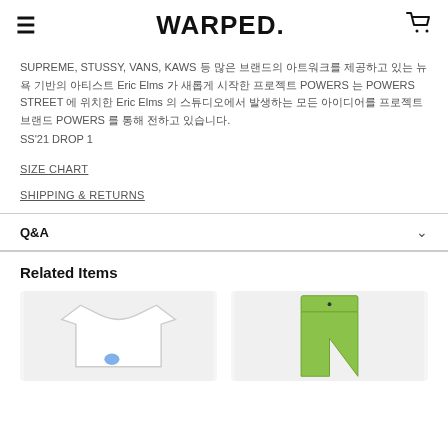WARPED.
SUPREME, STUSSY, VANS, KAWS 등 많은 브랜드의 아트워크를 제공하고 있는 뉴욕 기반의 아티스트 Eric Elms 가 새롭게 시작한 프로젝트 POWERS 는 POWERS STREET 에 위치한 Eric Elms 의 스튜디오에서 발생하는 모든 아이디어를 프로젝트 브랜드 POWERS 를 통해 전하고 있습니다.
SS'21 DROP 1
SIZE CHART
SHIPPING & RETURNS
Q&A
Related Items
[Figure (photo): White t-shirt product photo]
[Figure (photo): Lime green pants product photo]